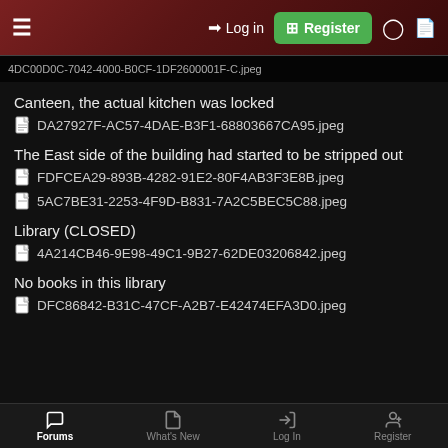Log in | Register
4DC00D0C-7042-4000-B0CF-1DF2600001F-C.jpeg
Canteen, the actual kitchen was locked
[Figure (other): DA27927F-AC57-4DAE-B3F1-68803667CA95.jpeg file icon]
The East side of the building had started to be stripped out
[Figure (other): FDFCEA29-893B-4282-91E2-80F4AB3F3E8B.jpeg file icon]
[Figure (other): 5AC7BE31-2253-4F9D-B831-7A2C5BEC5C88.jpeg file icon]
Library (CLOSED)
[Figure (other): 4A214CB46-9E98-49C1-9B27-62DE03206842.jpeg file icon]
No books in this library
[Figure (other): DFC86842-B31C-47CF-A2B7-E42474EFA3D0.jpeg file icon]
Forums | What's New | Log In | Register